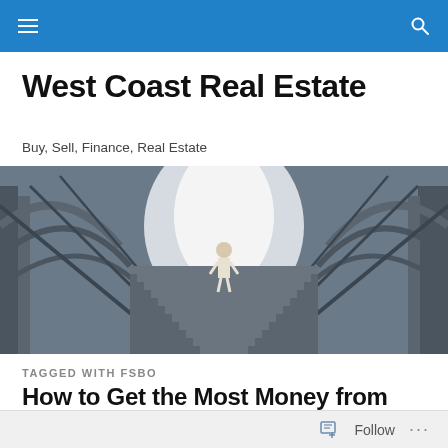West Coast Real Estate — navigation bar
West Coast Real Estate
Buy, Sell, Finance, Real Estate
[Figure (photo): A person walking up wide metal bridge stairs toward bright light, viewed from below, with metal arch structures on either side]
TAGGED WITH FSBO
How to Get the Most Money from the Sale of Your Home
Follow